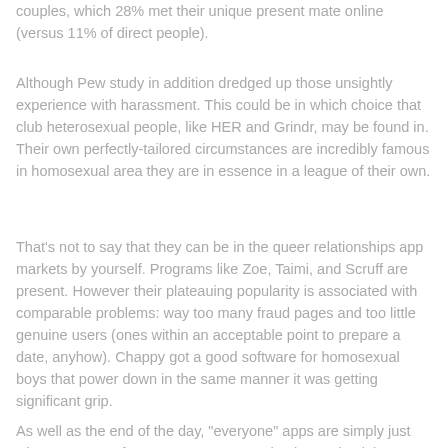couples, which 28% met their unique present mate online (versus 11% of direct people).
Although Pew study in addition dredged up those unsightly experience with harassment. This could be in which choice that club heterosexual people, like HER and Grindr, may be found in. Their own perfectly-tailored circumstances are incredibly famous in homosexual area they are in essence in a league of their own.
That's not to say that they can be in the queer relationships app markets by yourself. Programs like Zoe, Taimi, and Scruff are present. However their plateauing popularity is associated with comparable problems: way too many fraud pages and too little genuine users (ones within an acceptable point to prepare a date, anyhow). Chappy got a good software for homosexual boys that power down in the same manner it was getting significant grip.
As well as the end of the day, "everyone" apps are simply just where masses of queer consumers tend to be. Maintaining